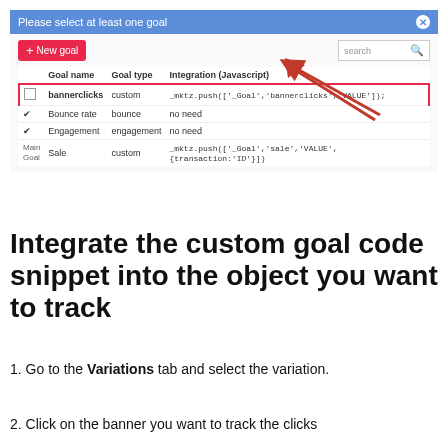[Figure (screenshot): Screenshot of a goal selection modal dialog with a table listing goals: bannerclicks (custom), Bounce rate (bounce), Engagement (engagement), Sale (custom). The bannerclicks row is highlighted with a red border. A red arrow points to the Integration (Javascript) column of the bannerclicks row. Modal has blue header 'Please select at least one goal', a red 'New goal' button, and a search box.]
Integrate the custom goal code snippet into the object you want to track
1. Go to the Variations tab and select the variation.
2. Click on the banner you want to track the clicks